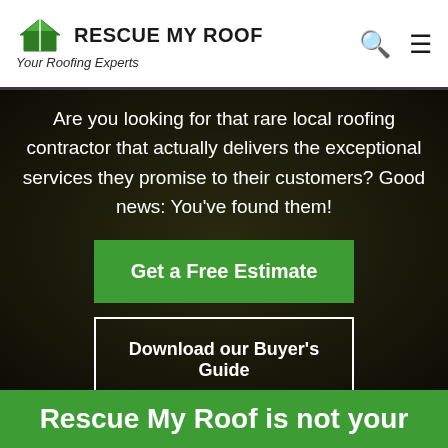RESCUE MY ROOF — Your Roofing Experts
Are you looking for that rare local roofing contractor that actually delivers the exceptional services they promise to their customers? Good news: You've found them!
Get a Free Estimate
Download our Buyer's Guide
Rescue My Roof is not your